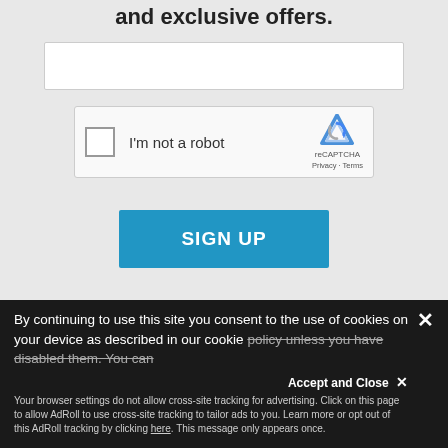and exclusive offers.
[Figure (screenshot): Email input text field, white background with border]
[Figure (screenshot): reCAPTCHA widget with checkbox 'I'm not a robot' and reCAPTCHA logo with Privacy - Terms links]
SIGN UP
By continuing to use this site you consent to the use of cookies on your device as described in our cookie policy unless you have disabled them. You can change your cookie settings at any time but parts of
Accept and Close ✕
Your browser settings do not allow cross-site tracking for advertising. Click on this page to allow AdRoll to use cross-site tracking to tailor ads to you. Learn more or opt out of this AdRoll tracking by clicking here. This message only appears once.